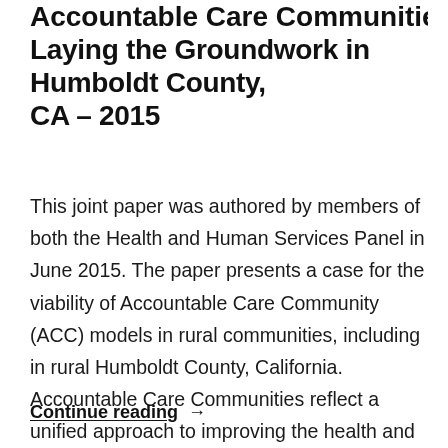Accountable Care Communities in Rural: Laying the Groundwork in Humboldt County, CA – 2015
This joint paper was authored by members of both the Health and Human Services Panel in June 2015. The paper presents a case for the viability of Accountable Care Community (ACC) models in rural communities, including in rural Humboldt County, California. Accountable Care Communities reflect a unified approach to improving the health and reducing the …
Continue reading →